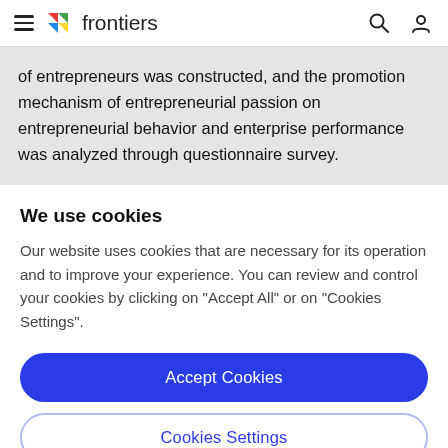frontiers
of entrepreneurs was constructed, and the promotion mechanism of entrepreneurial passion on entrepreneurial behavior and enterprise performance was analyzed through questionnaire survey.
We use cookies
Our website uses cookies that are necessary for its operation and to improve your experience. You can review and control your cookies by clicking on "Accept All" or on "Cookies Settings".
Accept Cookies
Cookies Settings